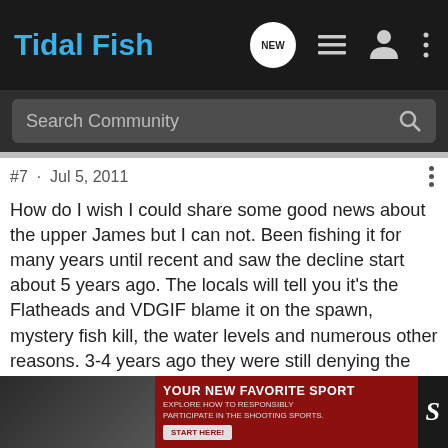Tidal Fish
Search Community
#7 · Jul 5, 2011
How do I wish I could share some good news about the upper James but I can not. Been fishing it for many years until recent and saw the decline start about 5 years ago. The locals will tell you it's the Flatheads and VDGIF blame it on the spawn, mystery fish kill, the water levels and numerous other reasons. 3-4 years ago they were still denying the flatheads were the cause but I see from the above report maybe they are now admitting that introducing the flatheads may have been a boo boo.. The last few time I fished it (several years ago) I caught as many flatheads and bass. I loved those trips but have started looking else where in recent years.
[Figure (photo): Advertisement banner: YOUR NEW FAVORITE SPORT - EXPLORE HOW TO RESPONSIBLY PARTICIPATE IN THE SHOOTING SPORTS. START HERE!]